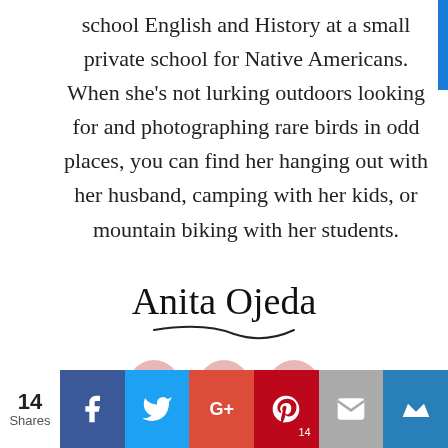school English and History at a small private school for Native Americans. When she's not lurking outdoors looking for and photographing rare birds in odd places, you can find her hanging out with her husband, camping with her kids, or mountain biking with her students.
[Figure (illustration): Cursive signature reading 'Anita Ojeda' with a decorative flourish underline]
[Figure (infographic): Three social media icon circles (Facebook, Twitter, Instagram) in pink/rose color]
14 Shares | Share buttons: Facebook, Twitter, Google+, Pinterest (14), Email, Crown